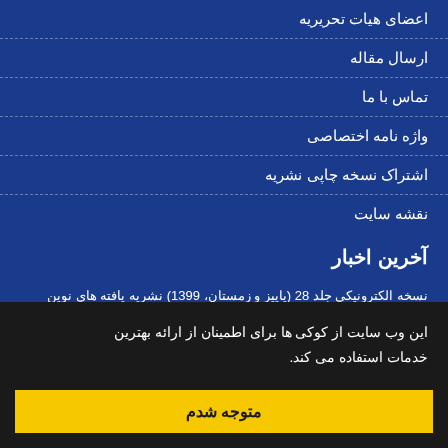اعضای هیات تحریریه
ارسال مقاله
تماس با ما
واژه نامه اختصاصی
اشتراک نسخه چاپی نشریه
نقشه سایت
آخرین اخبار
نسخه الکترونیکی جلد 28 (پاییز و زمستان، 1399) نشریه یافته های نوین زمین شناسی کاربردی در سامانه نشر به منتشر شد. 1399-10-28
این وب سایت از کوکی ها برای اطمینان از ارائه بهترین خدمات استفاده می کند.
متوجه شدم
برای دریافت اخبار و اطلاعیه های مهم نشر به در خبرنامه نشر به مشترک
Creative
No